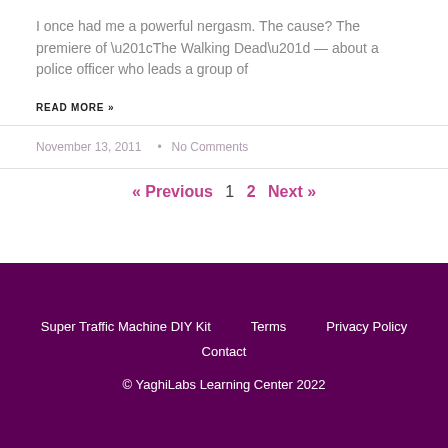I once had me a powerful nergasm. The cause? The premiere of “The Walking Dead” — about a police officer who leads a group of
READ MORE »
November 13, 2011 • No Comments
« Previous  1  2  Next »
Super Traffic Machine DIY Kit  Terms  Privacy Policy  Contact
© YaghiLabs Learning Center 2022